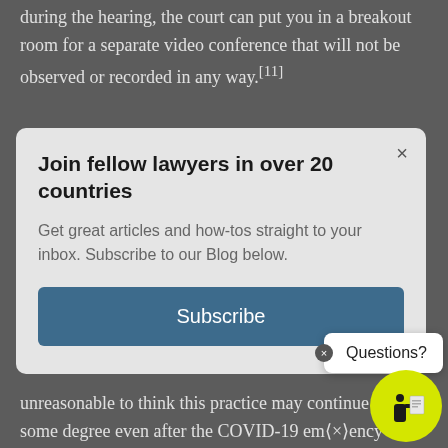during the hearing, the court can put you in a breakout room for a separate video conference that will not be observed or recorded in any way.[11]
[Figure (screenshot): Modal popup with title 'Join fellow lawyers in over 20 countries', body text 'Get great articles and how-tos straight to your inbox. Subscribe to our Blog below.', and a blue Subscribe button. Also shows a 'Questions?' tooltip and a yellow help icon.]
unreasonable to think this practice may continue to some degree even after the COVID-19 emergency – at least in some courts. There will be immediately around access, fairness, and accountability, that will need to be considered, resolved and fine-tuned however, before online proceedings can become the way of the future.